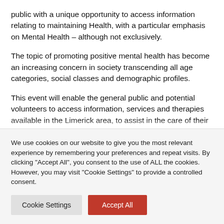public with a unique opportunity to access information relating to maintaining Health, with a particular emphasis on Mental Health – although not exclusively.
The topic of promoting positive mental health has become an increasing concern in society transcending all age categories, social classes and demographic profiles.
This event will enable the general public and potential volunteers to access information, services and therapies available in the Limerick area, to assist in the care of their
We use cookies on our website to give you the most relevant experience by remembering your preferences and repeat visits. By clicking "Accept All", you consent to the use of ALL the cookies. However, you may visit "Cookie Settings" to provide a controlled consent.